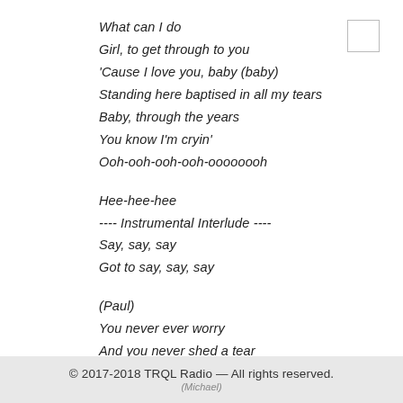What can I do
Girl, to get through to you
'Cause I love you, baby (baby)
Standing here baptised in all my tears
Baby, through the years
You know I'm cryin'
Ooh-ooh-ooh-ooh-oooooooh
Hee-hee-hee
---- Instrumental Interlude ----
Say, say, say
Got to say, say, say
(Paul)
You never ever worry
And you never shed a tear
© 2017-2018 TRQL Radio — All rights reserved.
(Michael)